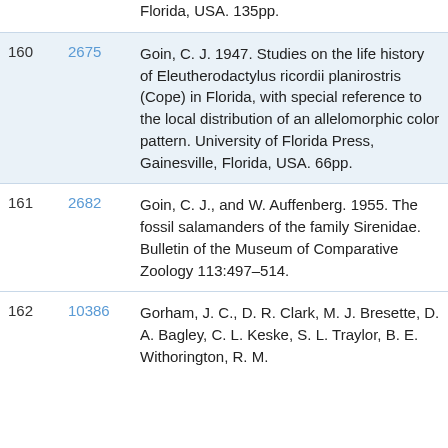| # | ID | Reference |
| --- | --- | --- |
|  |  | Florida, USA. 135pp. |
| 160 | 2675 | Goin, C. J. 1947. Studies on the life history of Eleutherodactylus ricordii planirostris (Cope) in Florida, with special reference to the local distribution of an allelomorphic color pattern. University of Florida Press, Gainesville, Florida, USA. 66pp. |
| 161 | 2682 | Goin, C. J., and W. Auffenberg. 1955. The fossil salamanders of the family Sirenidae. Bulletin of the Museum of Comparative Zoology 113:497–514. |
| 162 | 10386 | Gorham, J. C., D. R. Clark, M. J. Bresette, D. A. Bagley, C. L. Keske, S. L. Traylor, B. E. Withorington, R. M. |